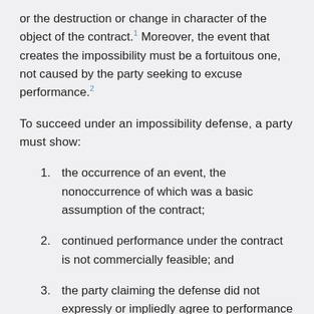or the destruction or change in character of the object of the contract.¹ Moreover, the event that creates the impossibility must be a fortuitous one, not caused by the party seeking to excuse performance.²
To succeed under an impossibility defense, a party must show:
1. the occurrence of an event, the nonoccurrence of which was a basic assumption of the contract;
2. continued performance under the contract is not commercially feasible; and
3. the party claiming the defense did not expressly or impliedly agree to performance in spite of the event.³